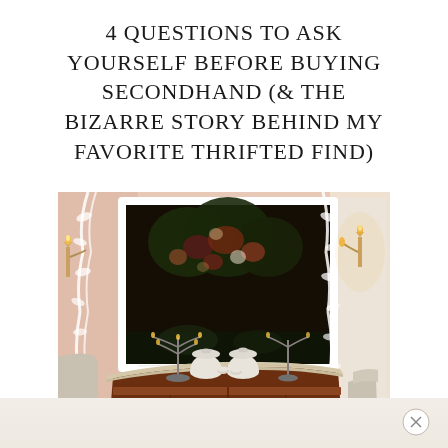4 QUESTIONS TO ASK YOURSELF BEFORE BUYING SECONDHAND (& THE BIZARRE STORY BEHIND MY FAVORITE THRIFTED FIND)
[Figure (photo): Elegant interior room with a large dark oil painting in a white ornate frame on a pink wall with decorative white plasterwork swags, wall sconces with candles, and a curved mahogany sideboard topped with marble, white ceramic lidded vessels, a candelabra, and porcelain teacups. A grey upholstered chair is partially visible on the right.]